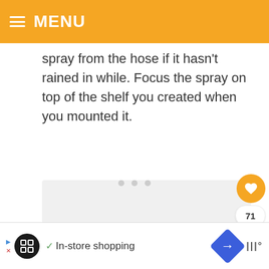MENU
spray from the hose if it hasn't rained in while. Focus the spray on top of the shelf you created when you mounted it.
[Figure (photo): Placeholder image area with loading dots indicator]
In-store shopping